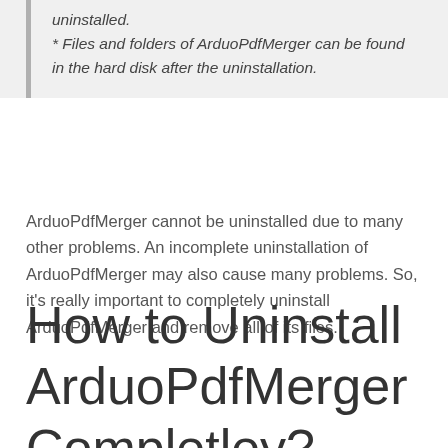uninstalled.
* Files and folders of ArduoPdfMerger can be found in the hard disk after the uninstallation.
ArduoPdfMerger cannot be uninstalled due to many other problems. An incomplete uninstallation of ArduoPdfMerger may also cause many problems. So, it's really important to completely uninstall ArduoPdfMerger and remove all of its files.
How to Uninstall ArduoPdfMerger Completley?